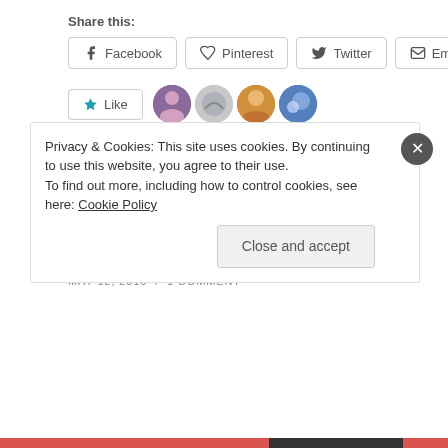Share this:
[Figure (screenshot): Social share buttons: Facebook, Pinterest, Twitter, Email]
[Figure (screenshot): Like button with star icon, and 4 blogger avatar thumbnails]
4 bloggers like this.
To the Mom Who Feels Alone
MAY 12, 2019 / 1 COMMENT
Privacy & Cookies: This site uses cookies. By continuing to use this website, you agree to their use.
To find out more, including how to control cookies, see here: Cookie Policy